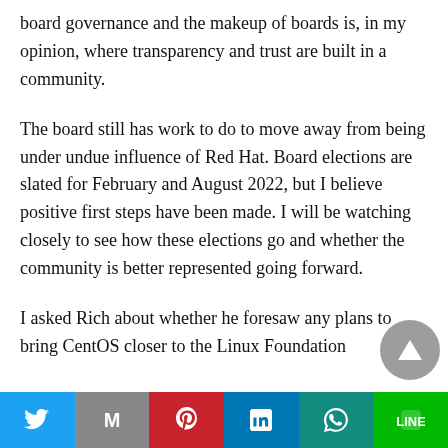board governance and the makeup of boards is, in my opinion, where transparency and trust are built in a community.
The board still has work to do to move away from being under undue influence of Red Hat. Board elections are slated for February and August 2022, but I believe positive first steps have been made. I will be watching closely to see how these elections go and whether the community is better represented going forward.
I asked Rich about whether he foresaw any plans to bring CentOS closer to the Linux Foundation